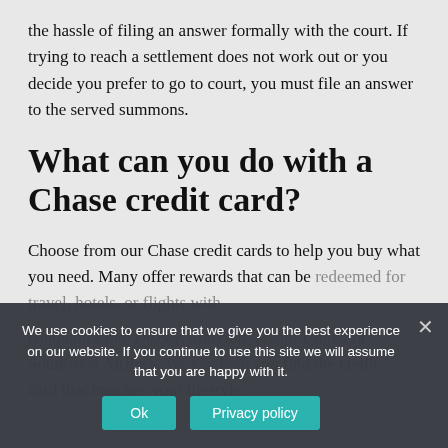the hassle of filing an answer formally with the court. If trying to reach a settlement does not work out or you decide you prefer to go to court, you must file an answer to the served summons.
What can you do with a Chase credit card?
Choose from our Chase credit cards to help you buy what you need. Many offer rewards that can be redeemed for travel, hotels, or flights with companies like Disney, Marriott, Hyatt, United or Southwest Airlines. We can help you find the credit card that matches your lifestyle.
We use cookies to ensure that we give you the best experience on our website. If you continue to use this site we will assume that you are happy with it.